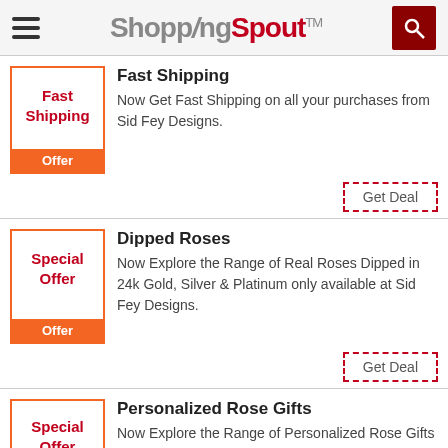ShoppingSpout™
Fast Shipping - Now Get Fast Shipping on all your purchases from Sid Fey Designs.
Get Deal
Dipped Roses - Now Explore the Range of Real Roses Dipped in 24k Gold, Silver & Platinum only available at Sid Fey Designs.
Get Deal
Personalized Rose Gifts - Now Explore the Range of Personalized Rose Gifts only available at Sid Fey Designs.